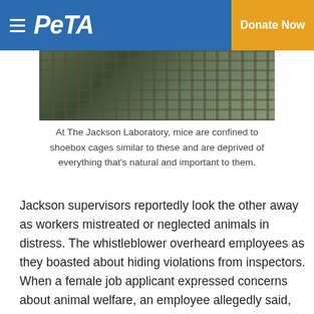PETA  Donate Now
[Figure (photo): Photo of animal cages (shoebox cages) in a laboratory setting, stacked and arranged in rows, with plastic wrapping visible.]
At The Jackson Laboratory, mice are confined to shoebox cages similar to these and are deprived of everything that's natural and important to them.
Jackson supervisors reportedly look the other away as workers mistreated or neglected animals in distress. The whistleblower overheard employees as they boasted about hiding violations from inspectors. When a female job applicant expressed concerns about animal welfare, an employee allegedly said, "Like [the supervisor] is going to hire some pregnant bitch that's gonna come up here and look at the way we illegally euthanize mice and threaten my job? I don't think so." When the whistleblower raised concerns about animal welfare, supervisors reportedly took no action and the